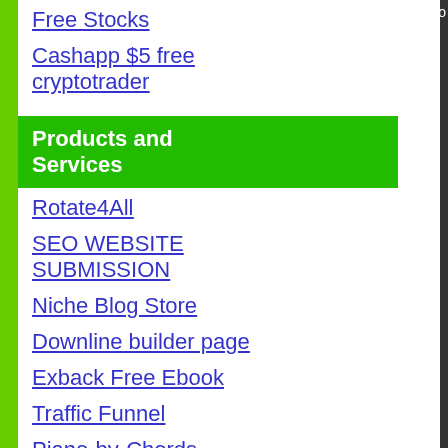Free Stocks
Cashapp $5 free
cryptotrader
Products and Services
Rotate4All
SEO WEBSITE SUBMISSION
Niche Blog Store
Downline builder page
Exback Free Ebook
Traffic Funnel
Piano-by-Chords
Gold,watches,jewlery
Mens Rolex Watches
Products and Services